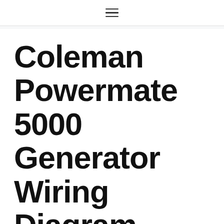≡
Coleman Powermate 5000 Generator Wiring Diagram
January 2, 2022 by Keri Sikkila